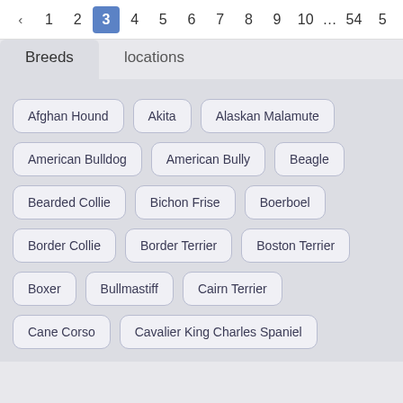‹ 1 2 3 4 5 6 7 8 9 10 … 54 5
Breeds   locations
Afghan Hound
Akita
Alaskan Malamute
American Bulldog
American Bully
Beagle
Bearded Collie
Bichon Frise
Boerboel
Border Collie
Border Terrier
Boston Terrier
Boxer
Bullmastiff
Cairn Terrier
Cane Corso
Cavalier King Charles Spaniel